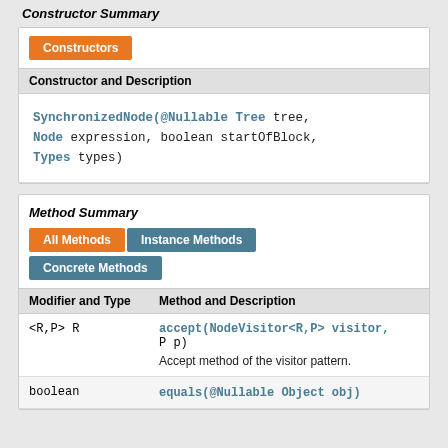Constructor Summary
| Constructors |
| --- |
| Constructor and Description |
| SynchronizedNode(@Nullable Tree tree, Node expression, boolean startOfBlock, Types types) |
Method Summary
| All Methods | Instance Methods | Concrete Methods |
| --- | --- | --- |
| Modifier and Type | Method and Description |
| <R,P> R | accept(NodeVisitor<R,P> visitor, P p)
Accept method of the visitor pattern. |
| boolean | equals(@Nullable Object obj) |